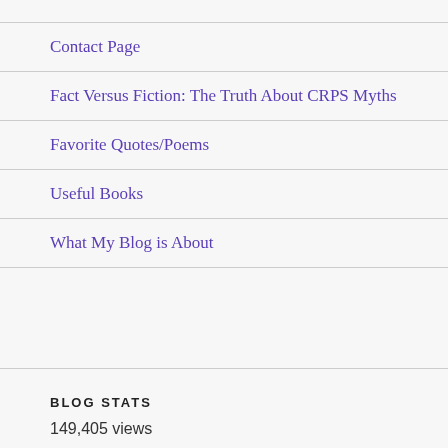Contact Page
Fact Versus Fiction: The Truth About CRPS Myths
Favorite Quotes/Poems
Useful Books
What My Blog is About
BLOG STATS
149,405 views